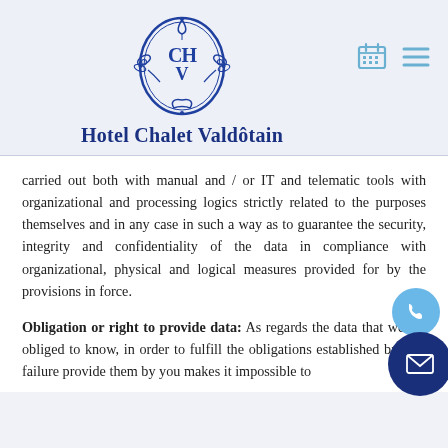[Figure (logo): Hotel Chalet Valdôtain crest logo — blue oval with CHV monogram and floral decoration]
Hotel Chalet Valdôtain
carried out both with manual and / or IT and telematic tools with organizational and processing logics strictly related to the purposes themselves and in any case in such a way as to guarantee the security, integrity and confidentiality of the data in compliance with organizational, physical and logical measures provided for by the provisions in force.
Obligation or right to provide data: As regards the data that we are obliged to know, in order to fulfill the obligations established by law, failure provide them by you makes it impossible to